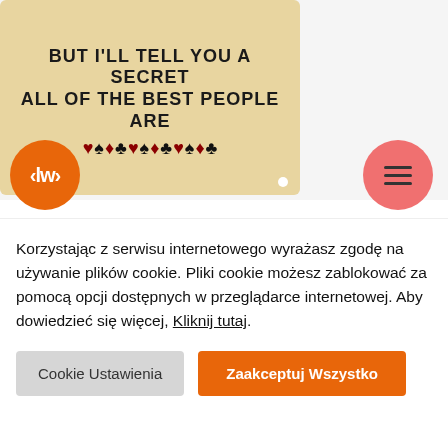[Figure (illustration): Vintage-style sign image with bold text reading BUT I'LL TELL YOU A SECRET ALL OF THE BEST PEOPLE ARE with playing card suits (hearts, spades, diamonds, clubs) in red and black below the text on aged beige background]
[Figure (logo): Orange circle logo with white text LW in brackets]
[Figure (other): Pink/salmon circle with three horizontal lines (hamburger menu icon)]
Alice in Wonderland Queen of Hearts Off...
Korzystając z serwisu internetowego wyrażasz zgodę na używanie plików cookie. Pliki cookie możesz zablokować za pomocą opcji dostępnych w przeglądarce internetowej. Aby dowiedzieć się więcej, Kliknij tutaj.